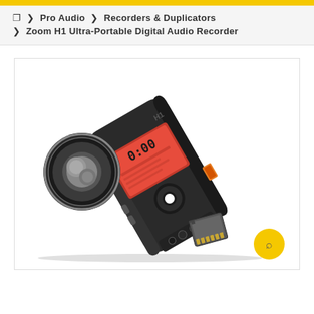🏠 › Pro Audio › Recorders & Duplicators
› Zoom H1 Ultra-Portable Digital Audio Recorder
[Figure (photo): Zoom H1 Ultra-Portable Digital Audio Recorder shown at an angle, with X/Y condenser microphones visible at the top, red LCD display screen, record button with white dot, and a small SD card shown separately at the bottom right. A yellow circular zoom icon is in the bottom-right corner.]